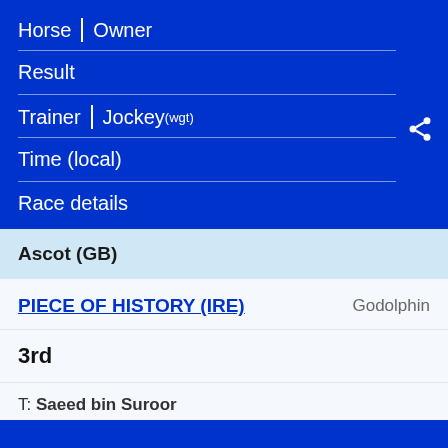| Horse | Owner | Result | Trainer | Jockey (wgt) | Time (local) | Race details |
| --- | --- | --- | --- | --- |
Ascot (GB)
PIECE OF HISTORY (IRE)   Godolphin
3rd
T: Saeed bin Suroor
J: Pat Cosgrave (9 - 3)
14:30